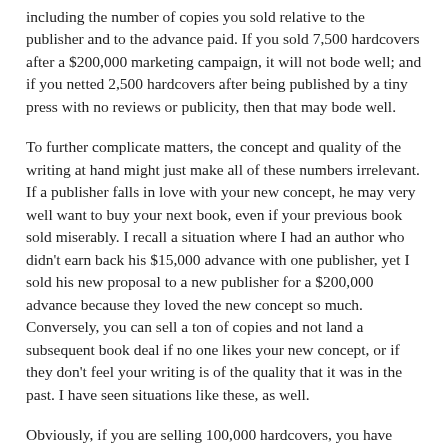including the number of copies you sold relative to the publisher and to the advance paid. If you sold 7,500 hardcovers after a $200,000 marketing campaign, it will not bode well; and if you netted 2,500 hardcovers after being published by a tiny press with no reviews or publicity, then that may bode well.
To further complicate matters, the concept and quality of the writing at hand might just make all of these numbers irrelevant. If a publisher falls in love with your new concept, he may very well want to buy your next book, even if your previous book sold miserably. I recall a situation where I had an author who didn't earn back his $15,000 advance with one publisher, yet I sold his new proposal to a new publisher for a $200,000 advance because they loved the new concept so much. Conversely, you can sell a ton of copies and not land a subsequent book deal if no one likes your new concept, or if they don't feel your writing is of the quality that it was in the past. I have seen situations like these, as well.
Obviously, if you are selling 100,000 hardcovers, you have little to worry about. Excluding that, there really is no magic